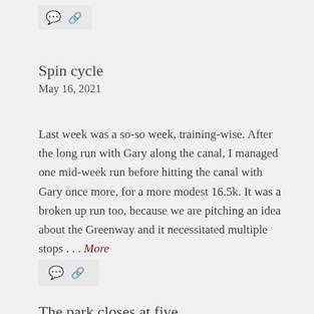[Figure (other): Comment and share link icons in a light grey bar at top]
Spin cycle
May 16, 2021
Last week was a so-so week, training-wise. After the long run with Gary along the canal, I managed one mid-week run before hitting the canal with Gary once more, for a more modest 16.5k. It was a broken up run too, because we are pitching an idea about the Greenway and it necessitated multiple stops . . . More
[Figure (other): Comment and share link icons in a light grey bar]
The park closes at five